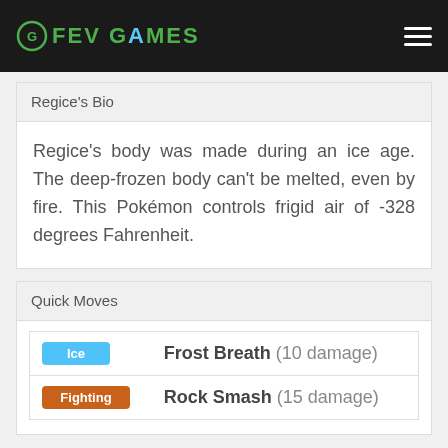FEV GAMES
Regice's Bio
Regice's body was made during an ice age. The deep-frozen body can't be melted, even by fire. This Pokémon controls frigid air of -328 degrees Fahrenheit.
Quick Moves
| Type | Move | Damage |
| --- | --- | --- |
| Ice | Frost Breath | (10 damage) |
| Fighting | Rock Smash | (15 damage) |